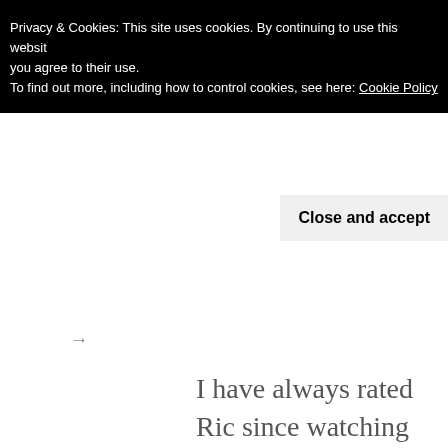Privacy & Cookies: This site uses cookies. By continuing to use this website, you agree to their use.
To find out more, including how to control cookies, see here: Cookie Policy
Close and accept
→
I have always rated Ric since watching him win the 2009 F3 championship where he seemed to win or finish on the podium. Though I never thought he would come to the fore so quickly in RBR – nice surprise then.